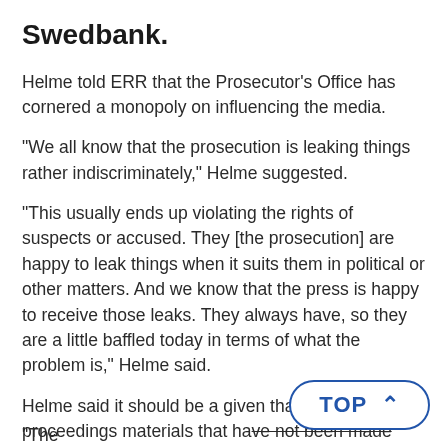Swedbank.
Helme told ERR that the Prosecutor's Office has cornered a monopoly on influencing the media.
"We all know that the prosecution is leaking things rather indiscriminately," Helme suggested.
"This usually ends up violating the rights of suspects or accused. They [the prosecution] are happy to leak things when it suits them in political or other matters. And we know that the press is happy to receive those leaks. They always have, so they are a little baffled today in terms of what the problem is," Helme said.
Helme said it should be a given that judicial proceedings materials that have not been made public will not be leaked by la
"The...